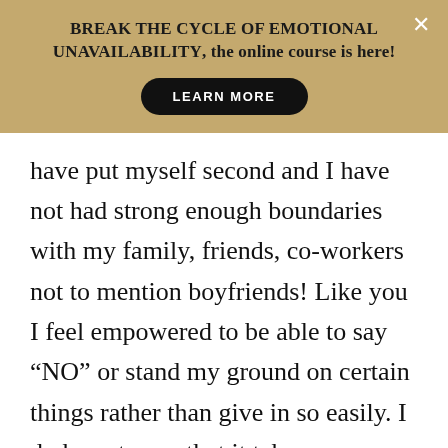[Figure (screenshot): Promotional banner with tan/gold background. Bold text reads 'BREAK THE CYCLE OF EMOTIONAL UNAVAILABILITY, the online course is here!' with a black pill-shaped 'LEARN MORE' button below. A white X close button appears in the top-right corner.]
have put myself second and I have not had strong enough boundaries with my family, friends, co-workers not to mention boyfriends! Like you I feel empowered to be able to say “NO” or stand my ground on certain things rather than give in so easily. I do have to say that it takes some getting used to because I certainly find myself thinking to myself “Was I